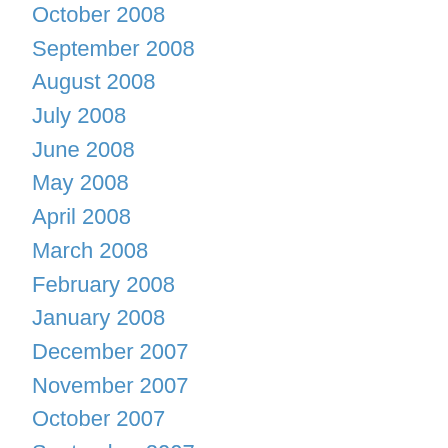October 2008
September 2008
August 2008
July 2008
June 2008
May 2008
April 2008
March 2008
February 2008
January 2008
December 2007
November 2007
October 2007
September 2007
August 2007